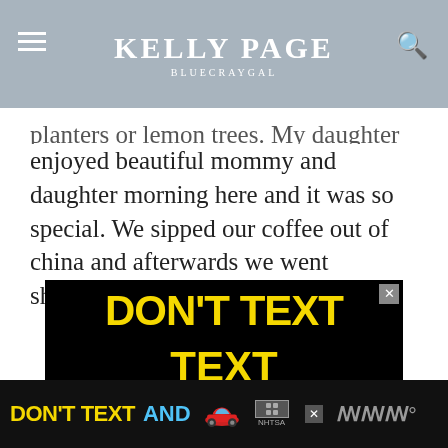Kelly Page / BlueCrayGal
planters or lemon trees. My daughter and I enjoyed beautiful mommy and daughter morning here and it was so special. We sipped our coffee out of china and afterwards we went shopping. Heaven!
[Figure (photo): DON'T TEXT AND [drive] advertisement with yellow bold text and red car emoji on black background – NHTSA public service announcement]
[Figure (photo): Bottom sticky ad bar: DON'T TEXT AND [car emoji] with NHTSA logo on black background]